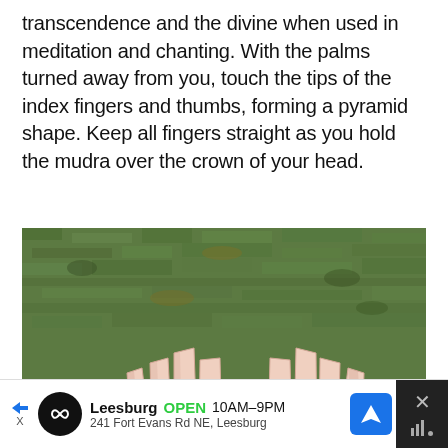transcendence and the divine when used in meditation and chanting. With the palms turned away from you, touch the tips of the index fingers and thumbs, forming a pyramid shape. Keep all fingers straight as you hold the mudra over the crown of your head.
[Figure (photo): A person forming a pyramid mudra hand gesture with both hands touching index fingers and thumbs together, shown against a grass lawn background.]
Leesburg OPEN 10AM–9PM 241 Fort Evans Rd NE, Leesburg